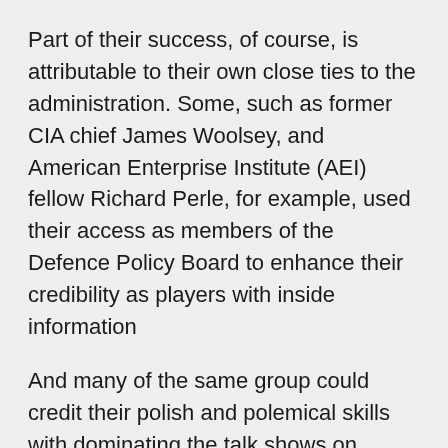Part of their success, of course, is attributable to their own close ties to the administration. Some, such as former CIA chief James Woolsey, and American Enterprise Institute (AEI) fellow Richard Perle, for example, used their access as members of the Defence Policy Board to enhance their credibility as players with inside information
And many of the same group could credit their polish and polemical skills with dominating the talk shows on television and radio and the op-ed pages in the nation's major newspapers.
It also no doubt helped that most of the group had known each other for many years, often worked with the same organisations and think tanks, and subscribed to the same basic ideology that had a clear and consistent story line: Saddam Hussein is evil and dangerous; the United States is good and benign; and if we don't get him first, he